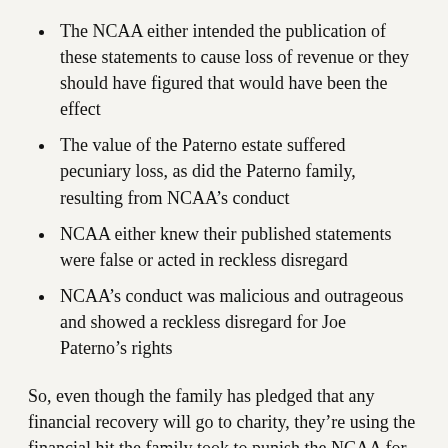The NCAA either intended the publication of these statements to cause loss of revenue or they should have figured that would have been the effect
The value of the Paterno estate suffered pecuniary loss, as did the Paterno family, resulting from NCAA's conduct
NCAA either knew their published statements were false or acted in reckless disregard
NCAA's conduct was malicious and outrageous and showed a reckless disregard for Joe Paterno's rights
So, even though the family has pledged that any financial recovery will go to charity, they're using the financial hit the family took to punish the NCAA for defaming Joe. Good plan!